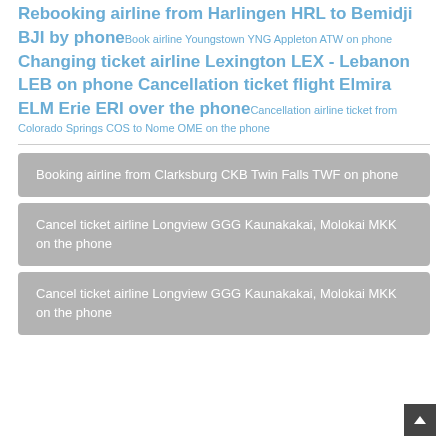Rebooking airline from Harlingen HRL to Bemidji BJI by phone Book airline Youngstown YNG Appleton ATW on phone Changing ticket airline Lexington LEX - Lebanon LEB on phone Cancellation ticket flight Elmira ELM Erie ERI over the phone Cancellation airline ticket from Colorado Springs COS to Nome OME on the phone
Booking airline from Clarksburg CKB Twin Falls TWF on phone
Cancel ticket airline Longview GGG Kaunakakai, Molokai MKK on the phone
Cancel ticket airline Longview GGG Kaunakakai, Molokai MKK on the phone